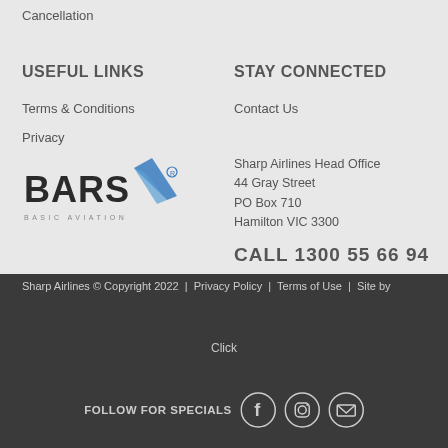Cancellation
USEFUL LINKS
STAY CONNECTED
Terms & Conditions
Contact Us
Privacy
[Figure (logo): BARS aviation logo with blue checkmark]
Sharp Airlines Head Office
44 Gray Street
PO Box 710
Hamilton VIC 3300
CALL 1300 55 66 94
Sharp Airlines © Copyright 2022  |  Privacy Policy  |  Terms of Use  |  Site by
Click
FOLLOW FOR SPECIALS